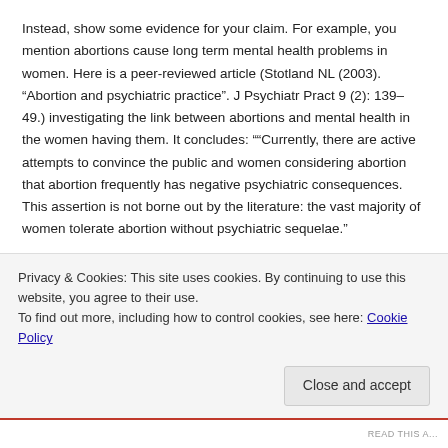Instead, show some evidence for your claim. For example, you mention abortions cause long term mental health problems in women. Here is a peer-reviewed article (Stotland NL (2003). “Abortion and psychiatric practice”. J Psychiatr Pract 9 (2): 139–49.) investigating the link between abortions and mental health in the women having them. It concludes: ““Currently, there are active attempts to convince the public and women considering abortion that abortion frequently has negative psychiatric consequences. This assertion is not borne out by the literature: the vast majority of women tolerate abortion without psychiatric sequelae.”
Also: the claim by Amanda Lewin: “…you forget to mention HIV which can actually kill you. Condoms are LESS than 80% successful…” is
Privacy & Cookies: This site uses cookies. By continuing to use this website, you agree to their use.
To find out more, including how to control cookies, see here: Cookie Policy
Close and accept